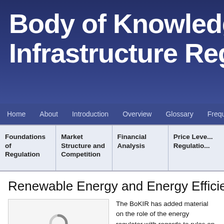Body of Knowledge on Infrastructure Regulation
Home  About  Introduction  Overview  Glossary  Frequently A...
Foundations of Regulation | Market Structure and Competition | Financial Analysis | Price Level Regulation
Renewable Energy and Energy Efficiency
[Figure (other): Loading spinner / thumbnail placeholder with circular loading indicator]
The BoKIR has added material on the role of the energy regulator with regards to rules on Renewable Energy Efficiency (EE). The renewable... geothermal, biomass, and hydrop... Tariffs, Net Metering, Renewable P...